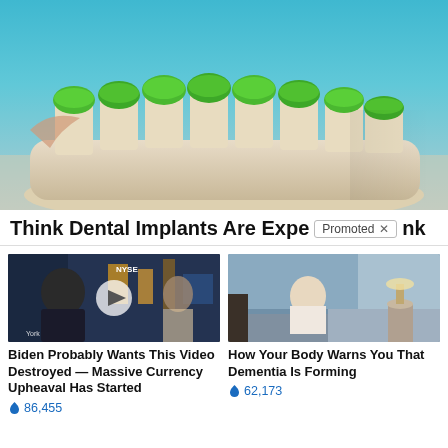[Figure (photo): Close-up photo of a dental implant model with green-tipped teeth on a cream-colored base, against a teal/blue background]
Think Dental Implants Are Expe... Promoted × ...nk
[Figure (photo): Video thumbnail of a man in a suit at what appears to be a financial news studio (NYSE visible), with a play button overlay]
Biden Probably Wants This Video Destroyed — Massive Currency Upheaval Has Started
🔥 86,455
[Figure (photo): Photo of an elderly person sitting on a bed, hunched over, in a bedroom setting]
How Your Body Warns You That Dementia Is Forming
🔥 62,173